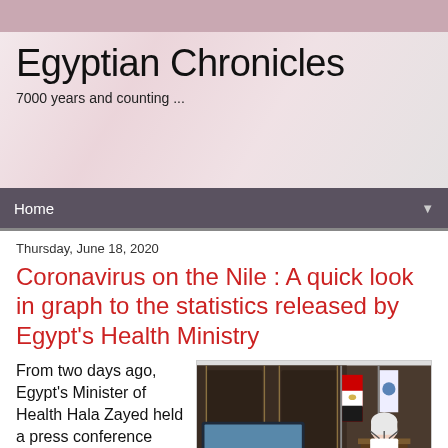Egyptian Chronicles
7000 years and counting ...
Home
Thursday, June 18, 2020
Coronavirus on the Nile : A quick look in graph to the statistics released by Egypt's Health Ministry
From two days ago, Egypt's Minister of Health Hala Zayed held a press conference where she shared very important statistics ...
[Figure (photo): Egypt's Health Minister Hala Zayed at a podium with microphones, Egyptian flag and WHO flag visible, a monitor showing graphs in the foreground]